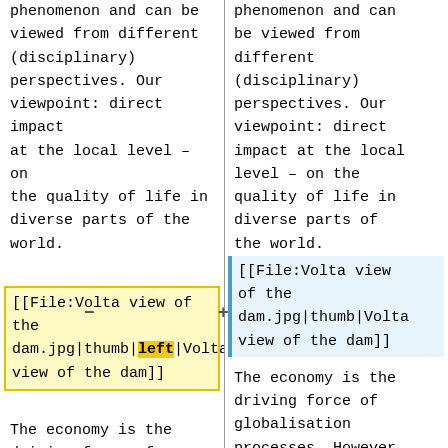This is a complex phenomenon and can be viewed from different (disciplinary) perspectives. Our viewpoint: direct impact at the local level – on the quality of life in diverse parts of the world.
[[File:Volta view of the dam.jpg|thumb|left|Volta view of the dam]]
The economy is the driving force of globalisation processes. However, the economy looks different from
This is a complex phenomenon and can be viewed from different (disciplinary) perspectives. Our viewpoint: direct impact at the local level – on the quality of life in diverse parts of the world.
[[File:Volta view of the dam.jpg|thumb|Volta view of the dam]]
The economy is the driving force of globalisation processes. However, the economy looks